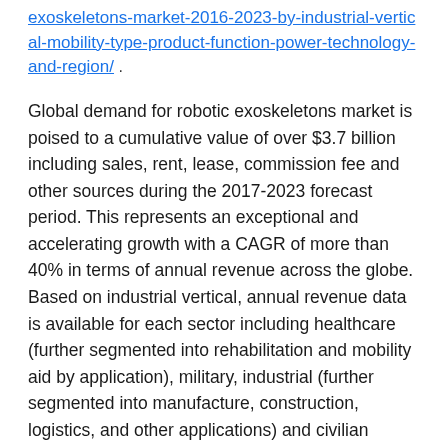exoskeletons-market-2016-2023-by-industrial-vertical-mobility-type-product-function-power-technology-and-region/ .
Global demand for robotic exoskeletons market is poised to a cumulative value of over $3.7 billion including sales, rent, lease, commission fee and other sources during the 2017-2023 forecast period. This represents an exceptional and accelerating growth with a CAGR of more than 40% in terms of annual revenue across the globe. Based on industrial vertical, annual revenue data is available for each sector including healthcare (further segmented into rehabilitation and mobility aid by application), military, industrial (further segmented into manufacture, construction, logistics, and other applications) and civilian sectors.